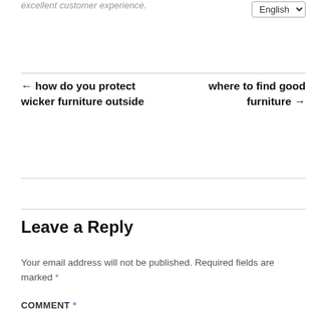excellent customer experience.
English
← how do you protect wicker furniture outside
where to find good furniture →
Leave a Reply
Your email address will not be published. Required fields are marked *
COMMENT *